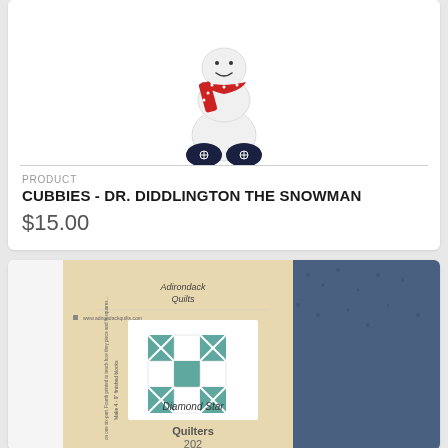[Figure (photo): White stuffed snowman toy wearing a red snowflake-patterned scarf and dark blue snowflake-patterned mittens/feet]
PRODUCT
CUBBIES - DR. DIDDLINGTON THE SNOWMAN
$15.00
[Figure (photo): Quilt pattern kit showing 'Diamond Star' pattern from Adirondack Quilts, with teal/blue fabric and pattern instructions visible]